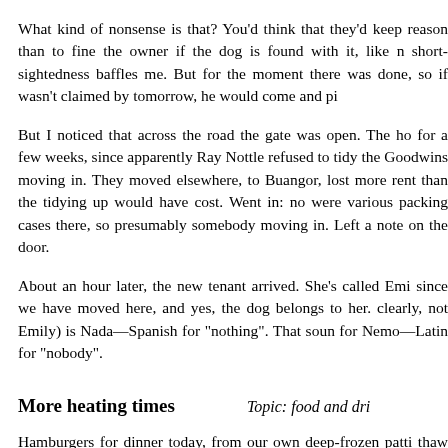What kind of nonsense is that? You'd think that they'd keep reason than to fine the owner if the dog is found with it, like n short-sightedness baffles me. But for the moment there was done, so if wasn't claimed by tomorrow, he would come and pi
But I noticed that across the road the gate was open. The ho for a few weeks, since apparently Ray Nottle refused to tidy the Goodwins moving in. They moved elsewhere, to Buangor, lost more rent than the tidying up would have cost. Went in: no were various packing cases there, so presumably somebody moving in. Left a note on the door.
About an hour later, the new tenant arrived. She's called Emi since we have moved here, and yes, the dog belongs to her. clearly, not Emily) is Nada—Spanish for "nothing". That soun for Nemo—Latin for "nobody".
More heating times
Topic: food and dri
Hamburgers for dinner today, from our own deep-frozen patti thaw them for? My basic calculations are to heat from -20° to frozen food to be water. That requires 40 calories per gram increase and 80 calories per gram for the transition solid to